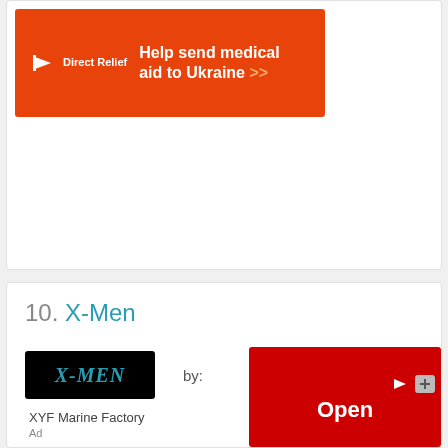[Figure (illustration): Direct Relief advertisement banner with orange background. Shows Direct Relief logo on left and text 'Help send medical aid to Ukraine >>' in white on right.]
10. X-Men
[Figure (logo): X-Men logo on black background thumbnail]
by:
XYF Marine Factory
[Figure (illustration): Red advertisement overlay with 'Open' button and ad icons in top right corner.]
Ad